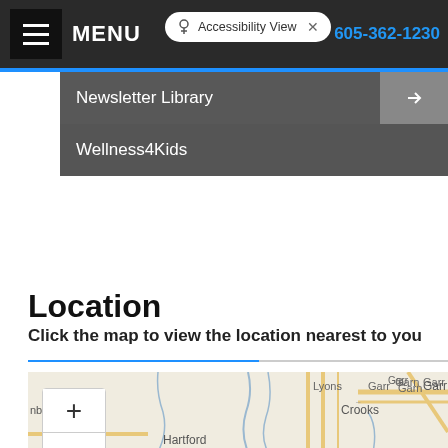MENU  Accessibility View  ×  605-362-1230
Newsletter Library
Wellness4Kids
Location
Click the map to view the location nearest to you
[Figure (map): Road map showing Lyons, Crooks, Humboldt, Hartford, and Garr areas with zoom controls]